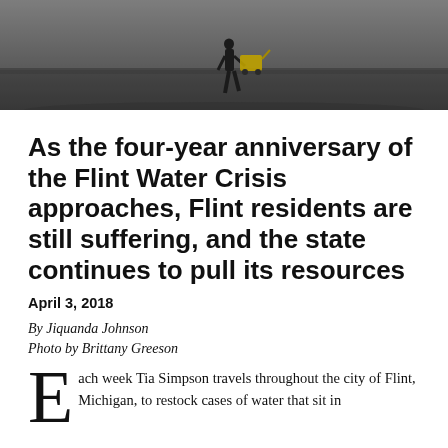[Figure (photo): A person walking with a yellow shopping cart on a sidewalk or street, viewed from a distance with a blurred background.]
As the four-year anniversary of the Flint Water Crisis approaches, Flint residents are still suffering, and the state continues to pull its resources
April 3, 2018
By Jiquanda Johnson
Photo by Brittany Greeson
Each week Tia Simpson travels throughout the city of Flint, Michigan, to restock cases of water that sit in